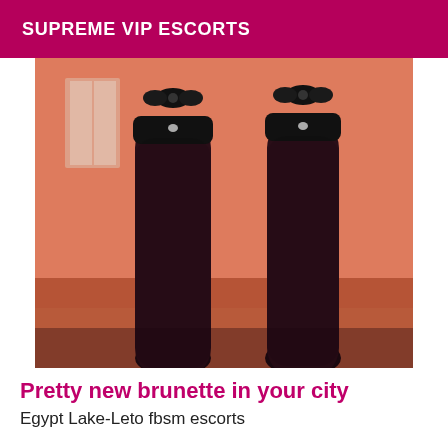SUPREME VIP ESCORTS
[Figure (photo): Photo of a person's legs wearing black fishnet stockings with decorative bow garters, standing on a reddish-brown floor against a peach/salmon colored wall background.]
Pretty new brunette in your city
Egypt Lake-Leto fbsm escorts